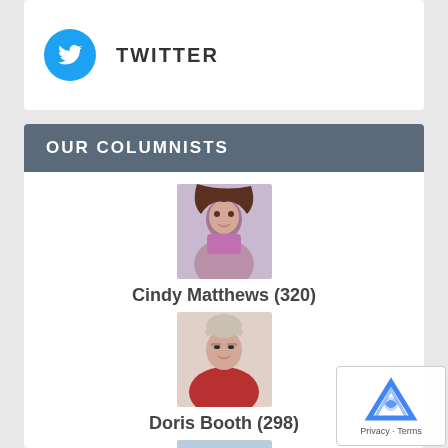[Figure (logo): Twitter logo icon — circular blue background with white bird silhouette]
TWITTER
OUR COLUMNISTS
[Figure (photo): Photo of Cindy Matthews — woman with brown hair, wearing a purple top]
Cindy Matthews (320)
[Figure (photo): Photo of Doris Booth — older woman with glasses, wearing a red top]
Doris Booth (298)
[Figure (photo): Photo of Kate Padilla — woman with glasses and light hair, outdoor background]
Kate Padilla (244)
[Figure (photo): Photo of Ellen Birkett Morris — woman with dark hair]
Ellen Birkett Morris (172)